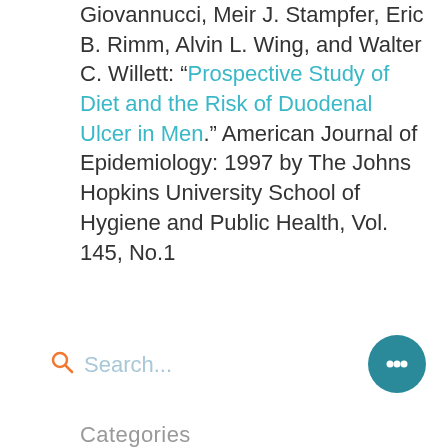Giovannucci, Meir J. Stampfer, Eric B. Rimm, Alvin L. Wing, and Walter C. Willett: “Prospective Study of Diet and the Risk of Duodenal Ulcer in Men.” American Journal of Epidemiology: 1997 by The Johns Hopkins University School of Hygiene and Public Health, Vol. 145, No.1
Search...
Categories